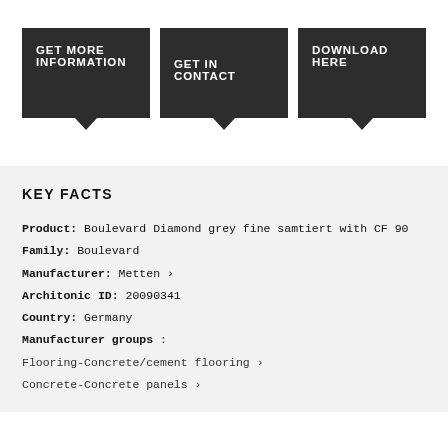GET MORE INFORMATION
GET IN CONTACT
DOWNLOAD HERE
KEY FACTS
Product:  Boulevard Diamond grey fine samtiert with CF 90
Family:  Boulevard
Manufacturer:  Metten ›
Architonic ID:  20090341
Country:  Germany
Manufacturer groups :
Flooring-Concrete/cement flooring ›
Concrete-Concrete panels ›